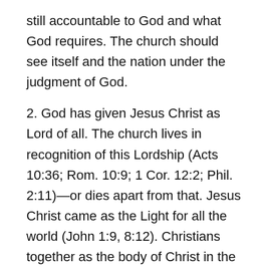still accountable to God and what God requires. The church should see itself and the nation under the judgment of God.
2. God has given Jesus Christ as Lord of all. The church lives in recognition of this Lordship (Acts 10:36; Rom. 10:9; 1 Cor. 12:2; Phil. 2:11)—or dies apart from that. Jesus Christ came as the Light for all the world (John 1:9, 8:12). Christians together as the body of Christ in the world are called to reflect that Light. So it is that Jesus' declaration, “You are the light of the world” (Matt. 5:14), is central to the Sermon on the Mount. In Jesus Christ “all things were created in heaven and on earth, visible and